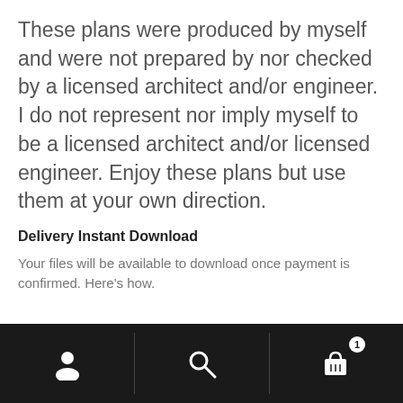These plans were produced by myself and were not prepared by nor checked by a licensed architect and/or engineer. I do not represent nor imply myself to be a licensed architect and/or licensed engineer. Enjoy these plans but use them at your own direction.
Delivery Instant Download
Your files will be available to download once payment is confirmed. Here's how.
[Figure (other): Mobile app bottom navigation bar with three icons: user/profile icon on the left, search/magnifying glass icon in the center, and shopping cart icon with badge showing '1' on the right. Dark/black background.]